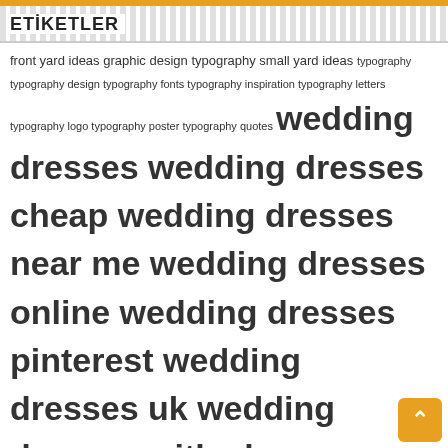ETİKETLER
front yard ideas graphic design typography small yard ideas typography typography design typography fonts typography inspiration typography letters typography logo typography poster typography quotes wedding dresses wedding dresses cheap wedding dresses near me wedding dresses online wedding dresses pinterest wedding dresses uk wedding dresses with sleeves woodturning Woodturning Beginners Woodturning Ideas woodworking Woodworking Crafts Woodworking DIY Woodworking For Beginners Woodworking Furniture Woodworking Ideas woodworking jigs Woodworking Jigs Homemade Woodworking Jigs How To Make Woodworking Jigs Router Woodworking Jigs Table Saw Woodworking Jigs Website Woodworking Logo woodworking plans woodworking projects Woodworking Tips woodworking tools Yard ideas yard ideas